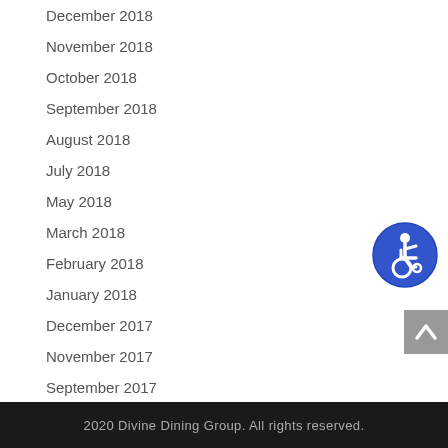December 2018
November 2018
October 2018
September 2018
August 2018
July 2018
May 2018
March 2018
February 2018
January 2018
December 2017
November 2017
September 2017
August 2017
[Figure (illustration): Blue circular accessibility icon with wheelchair user symbol]
[Figure (illustration): Grey square scroll-to-top button with upward chevron]
2020 Divine Dining Group. All rights reserved.